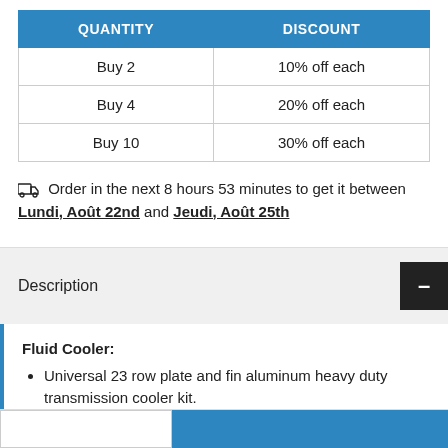| QUANTITY | DISCOUNT |
| --- | --- |
| Buy 2 | 10% off each |
| Buy 4 | 20% off each |
| Buy 10 | 30% off each |
Order in the next 8 hours 53 minutes to get it between Lundi, Août 22nd and Jeudi, Août 25th
Description
Fluid Cooler:
Universal 23 row plate and fin aluminum heavy duty transmission cooler kit.
Extend transmission life by helping prevent heat-